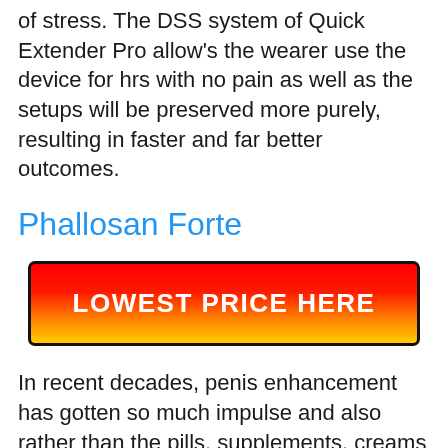of stress. The DSS system of Quick Extender Pro allow's the wearer use the device for hrs with no pain as well as the setups will be preserved more purely, resulting in faster and far better outcomes.
Phallosan Forte
[Figure (other): Red to yellow gradient CTA button with text 'LOWEST PRICE HERE']
In recent decades, penis enhancement has gotten so much impulse and also rather than the pills, supplements, creams and exercise, the one point that has actually revealed visible results are; penis gadgets. And Phallosan strong suit is among them. Phallosan strength is a penis augmentation